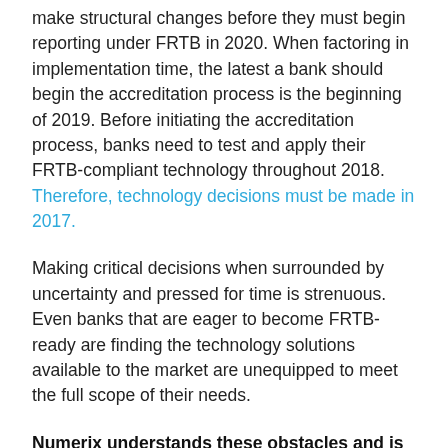make structural changes before they must begin reporting under FRTB in 2020. When factoring in implementation time, the latest a bank should begin the accreditation process is the beginning of 2019. Before initiating the accreditation process, banks need to test and apply their FRTB-compliant technology throughout 2018. Therefore, technology decisions must be made in 2017.
Making critical decisions when surrounded by uncertainty and pressed for time is strenuous. Even banks that are eager to become FRTB-ready are finding the technology solutions available to the market are unequipped to meet the full scope of their needs.
Numerix understands these obstacles and is uniquely positioned to help banks accelerate their FRTB readiness